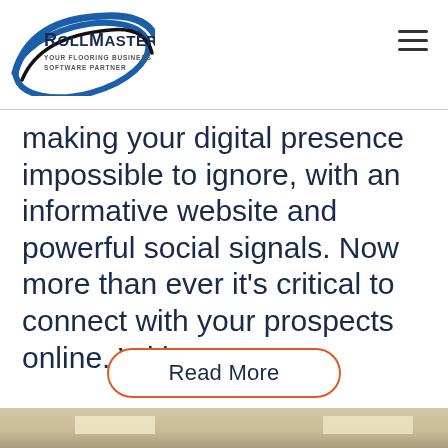[Figure (logo): RollMaster logo with blue swoosh graphic. Text reads 'ROLLMASTER' with tagline 'YOUR FLOORING BUSINESS SOFTWARE PARTNER']
making your digital presence impossible to ignore, with an informative website and powerful social signals. Now more than ever it’s critical to connect with your prospects online. Without
Read More
[Figure (photo): Interior photo of what appears to be a warehouse or office space with ceiling lights visible]